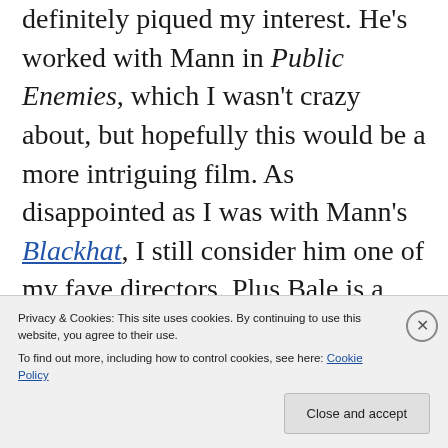definitely piqued my interest. He's worked with Mann in Public Enemies, which I wasn't crazy about, but hopefully this would be a more intriguing film. As disappointed as I was with Mann's Blackhat, I still consider him one of my fave directors. Plus Bale is a heck of a lot better actor than Chris Hemsworth so even though he looks nothing like the real Enzo Ferrari, I think he could do this role justice.
Speaking of Hemsworth though, the last film
Privacy & Cookies: This site uses cookies. By continuing to use this website, you agree to their use. To find out more, including how to control cookies, see here: Cookie Policy
Close and accept